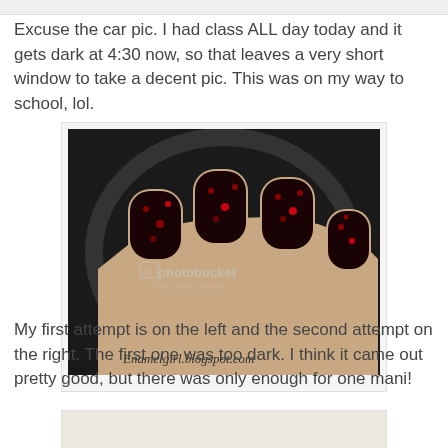Excuse the car pic. I had class ALL day today and it gets dark at 4:30 now, so that leaves a very short window to take a decent pic. This was on my way to school, lol.
[Figure (photo): Close-up photo of a hand with dark red/black glitter nail polish on fingers, taken in a car. Watermark reads 'Enamelgirl.blogspot.com' and photobucket logo visible.]
My first attempt is on the left and the second attempt on the right. The first one was too dark. I think it came out pretty good, but there was only enough for one mani!
[Figure (photo): Partially visible image at bottom of page, appears to show a light/cream colored surface.]